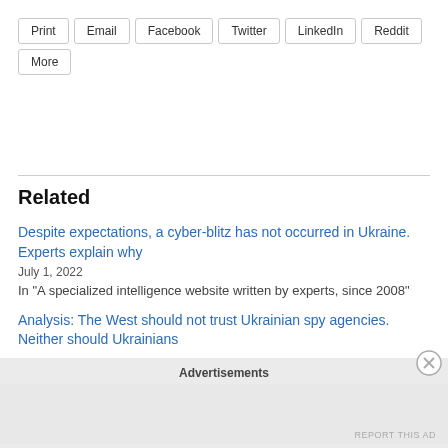Print
Email
Facebook
Twitter
LinkedIn
Reddit
More
Related
Despite expectations, a cyber-blitz has not occurred in Ukraine. Experts explain why
July 1, 2022
In "A specialized intelligence website written by experts, since 2008"
Analysis: The West should not trust Ukrainian spy agencies. Neither should Ukrainians
Advertisements